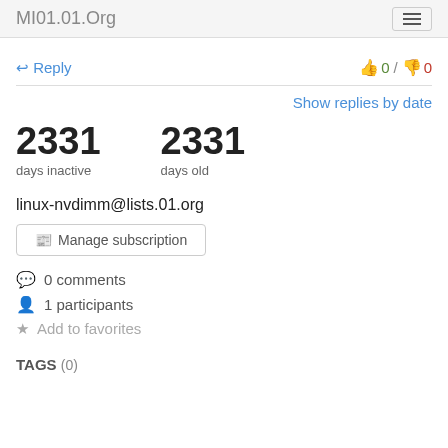MI01.01.Org
Reply   0 / 0
Show replies by date
2331 days inactive   2331 days old
linux-nvdimm@lists.01.org
Manage subscription
0 comments
1 participants
Add to favorites
TAGS (0)